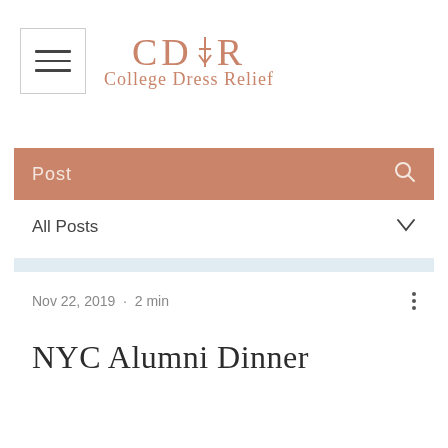[Figure (logo): CDR College Dress Relief logo with hamburger menu icon on the left and CDR text with script tagline on the right]
Post
All Posts
Nov 22, 2019 · 2 min
NYC Alumni Dinner